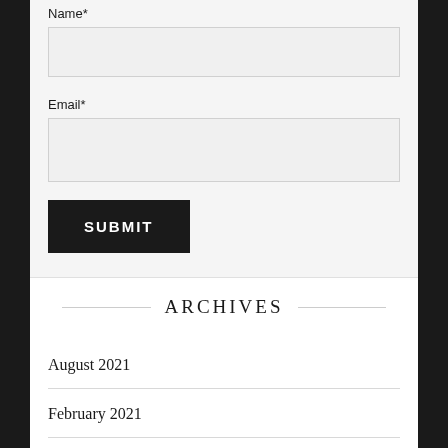Name*
Email*
SUBMIT
ARCHIVES
August 2021
February 2021
January 2021